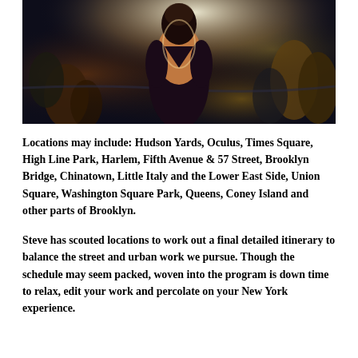[Figure (photo): A woman in a backless black dress, photographed from behind, surrounded by a crowd at an event. Dark, dramatic lighting with blue and warm tones.]
Locations may include: Hudson Yards, Oculus, Times Square, High Line Park, Harlem, Fifth Avenue & 57 Street, Brooklyn Bridge, Chinatown, Little Italy and the Lower East Side, Union Square, Washington Square Park, Queens, Coney Island and other parts of Brooklyn.
Steve has scouted locations to work out a final detailed itinerary to balance the street and urban work we pursue. Though the schedule may seem packed, woven into the program is down time to relax, edit your work and percolate on your New York experience.